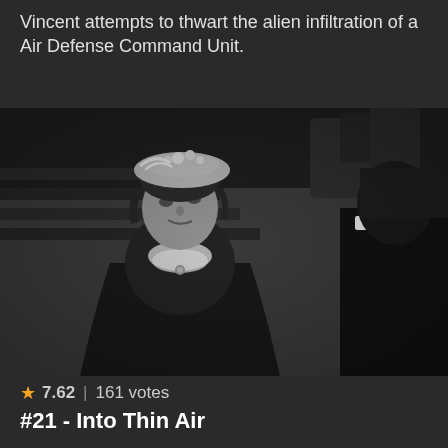Vincent attempts to thwart the alien infiltration of a Air Defense Command Unit.
[Figure (photo): Black and white still from a TV episode showing a woman in Victorian-era dress with a decorative hat looking up at a man in a dark suit, whose back is partially visible on the right side of the frame.]
★ 7.62 | 161 votes
#21 - Into Thin Air